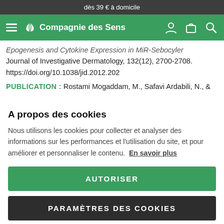dès 39 € à domicile
[Figure (screenshot): Compagnie des Sens navigation bar with hamburger menu, logo, and icons for user account, shopping bag, and search]
Epogenesis and Cytokine Expression in MiR-Sebocytes. Journal of Investigative Dermatology, 132(12), 2700-2708. https://doi.org/10.1038/jid.2012.202
PUBLICATION : Rostami Mogaddam, M., Safavi Ardabili, N., &
A propos des cookies
Nous utilisons les cookies pour collecter et analyser des informations sur les performances et l'utilisation du site, et pour améliorer et personnaliser le contenu.  En savoir plus
AUTORISER
PARAMÈTRES DES COOKIES